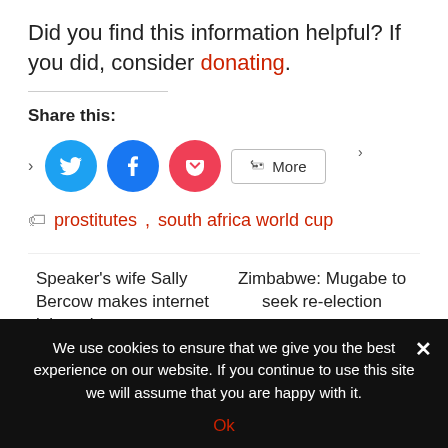Did you find this information helpful? If you did, consider donating.
Share this:
[Figure (other): Social share buttons: Twitter (blue circle), Facebook (blue circle), Pocket (red circle), More button]
prostitutes, south africa world cup
Speaker's wife Sally Bercow makes internet jokes about
Zimbabwe: Mugabe to seek re-election
We use cookies to ensure that we give you the best experience on our website. If you continue to use this site we will assume that you are happy with it.
Ok